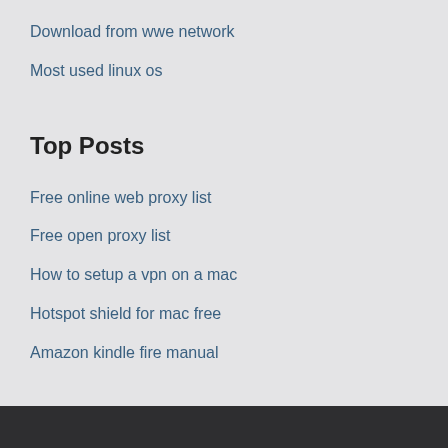Download from wwe network
Most used linux os
Top Posts
Free online web proxy list
Free open proxy list
How to setup a vpn on a mac
Hotspot shield for mac free
Amazon kindle fire manual